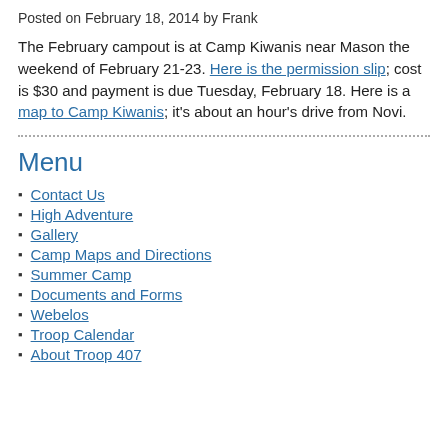Posted on February 18, 2014 by Frank
The February campout is at Camp Kiwanis near Mason the weekend of February 21-23. Here is the permission slip; cost is $30 and payment is due Tuesday, February 18. Here is a map to Camp Kiwanis; it's about an hour's drive from Novi.
Menu
Contact Us
High Adventure
Gallery
Camp Maps and Directions
Summer Camp
Documents and Forms
Webelos
Troop Calendar
About Troop 407